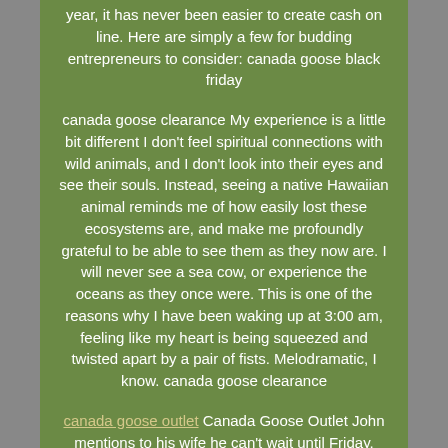year, it has never been easier to create cash on line. Here are simply a few for budding entrepreneurs to consider: canada goose black friday
canada goose clearance My experience is a little bit different I don't feel spiritual connections with wild animals, and I don't look into their eyes and see their souls. Instead, seeing a native Hawaiian animal reminds me of how easily lost these ecosystems are, and make me profoundly grateful to be able to see them as they now are. I will never see a sea cow, or experience the oceans as they once were. This is one of the reasons why I have been waking up at 3:00 am, feeling like my heart is being squeezed and twisted apart by a pair of fists. Melodramatic, I know. canada goose clearance
canada goose outlet Canada Goose Outlet John mentions to his wife he can't wait until Friday, Friday, he shakes his head as he goes back into the washroom to finish his business. Looking in the mirror, he smiles and just repeats, Friday soon it will be Friday,